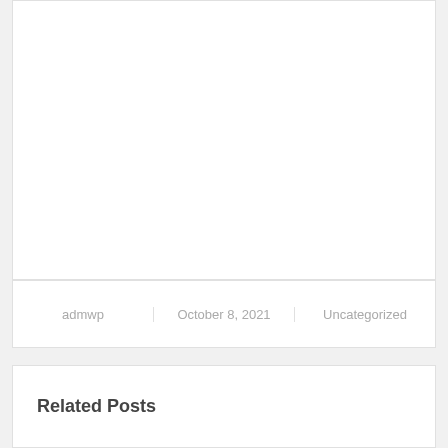[Figure (other): Empty white image/content box]
| admwp | October 8, 2021 | Uncategorized |
| --- | --- | --- |
Related Posts